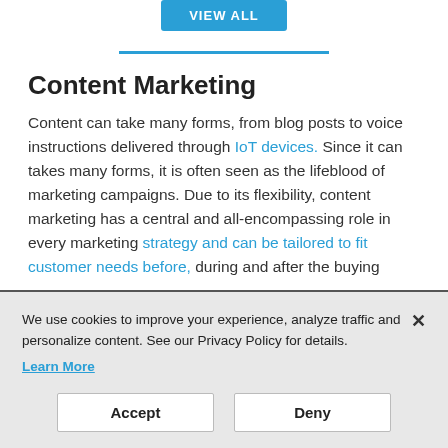[Figure (other): Blue 'VIEW ALL' button at the top center of the page]
Content Marketing
Content can take many forms, from blog posts to voice instructions delivered through IoT devices. Since it can takes many forms, it is often seen as the lifeblood of marketing campaigns. Due to its flexibility, content marketing has a central and all-encompassing role in every marketing strategy and can be tailored to fit customer needs before, during and after the buying
We use cookies to improve your experience, analyze traffic and personalize content. See our Privacy Policy for details. Learn More
Accept
Deny